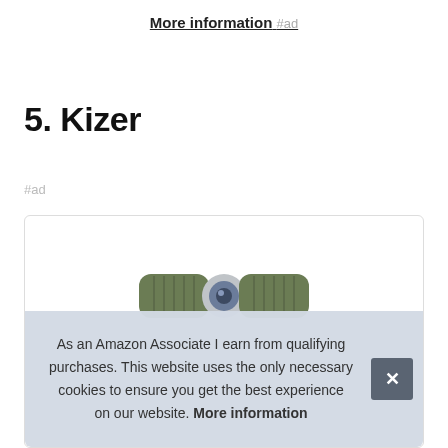More information #ad
5. Kizer
#ad
[Figure (photo): Product image of a Kizer knife with olive/green handle and steel pivot, shown in a bordered card. A cookie consent banner overlays the bottom of the image.]
As an Amazon Associate I earn from qualifying purchases. This website uses the only necessary cookies to ensure you get the best experience on our website. More information